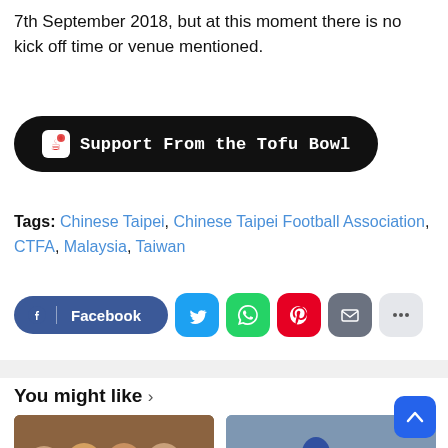7th September 2018, but at this moment there is no kick off time or venue mentioned.
[Figure (other): Ko-fi support button: black rounded rectangle with Ko-fi icon and text 'Support From the Tofu Bowl']
Tags: Chinese Taipei, Chinese Taipei Football Association, CTFA, Malaysia, Taiwan
[Figure (other): Social share buttons: Facebook, Twitter, WhatsApp, Pinterest, Email, More]
[Figure (other): Thumbnail image: Women football players countdown photo]
[Figure (other): Thumbnail image: Football player in blue kit on pitch]
You might like ›